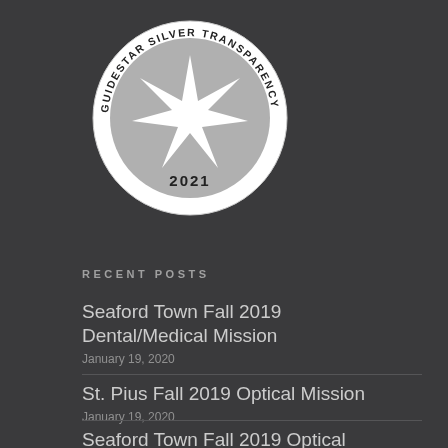[Figure (logo): GuideStar Silver Transparency 2021 circular badge/seal with a starburst emblem in the center, white and grey tones]
RECENT POSTS
Seaford Town Fall 2019 Dental/Medical Mission
January 19, 2020
St. Pius Fall 2019 Optical Mission
January 19, 2020
Seaford Town Fall 2019 Optical